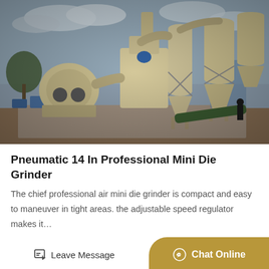[Figure (photo): Outdoor industrial grinding mill equipment installation — large cream/beige colored pneumatic roller mill with cyclone dust collectors, blower fan unit on the left, piping and conveyors, worker standing nearby, overcast sky background, construction site setting.]
Pneumatic 14 In Professional Mini Die Grinder
The chief professional air mini die grinder is compact and easy to maneuver in tight areas. the adjustable speed regulator makes it…